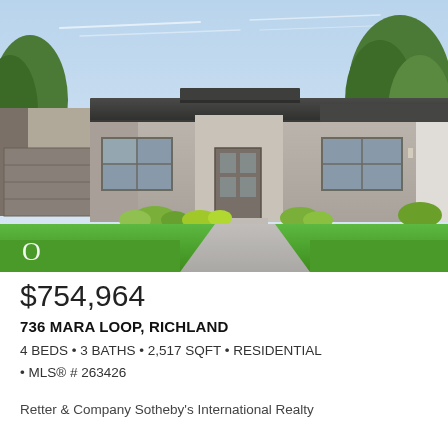[Figure (photo): Exterior front view of a modern single-story ranch-style home with dark gray roof, taupe/gray stucco walls, attached garage on left, green landscaping, concrete driveway, blue sky background. Letter 'O' watermark in lower left corner.]
$754,964
736 MARA LOOP, RICHLAND
4 BEDS • 3 BATHS • 2,517 SQFT • RESIDENTIAL • MLS® # 263426
Retter & Company Sotheby's International Realty